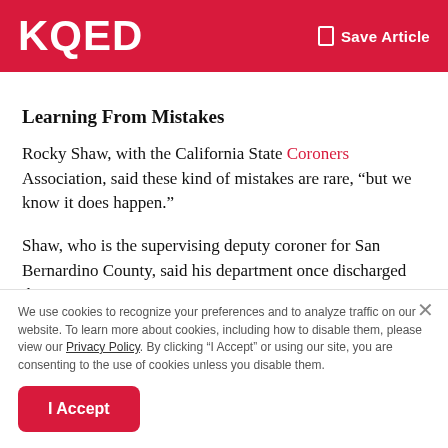KQED  Save Article
Learning From Mistakes
Rocky Shaw, with the California State Coroners Association, said these kind of mistakes are rare, “but we know it does happen.”
Shaw, who is the supervising deputy coroner for San Bernardino County, said his department once discharged the
We use cookies to recognize your preferences and to analyze traffic on our website. To learn more about cookies, including how to disable them, please view our Privacy Policy. By clicking “I Accept” or using our site, you are consenting to the use of cookies unless you disable them.
I Accept